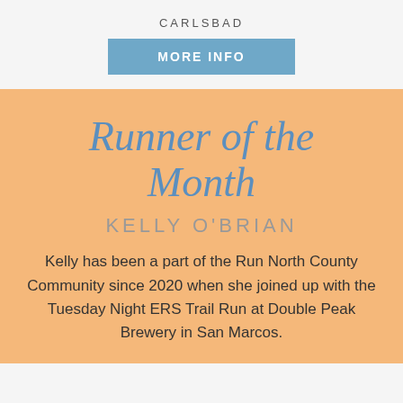CARLSBAD
MORE INFO
Runner of the Month
KELLY O'BRIAN
Kelly has been a part of the Run North County Community since 2020 when she joined up with the Tuesday Night ERS Trail Run at Double Peak Brewery in San Marcos.